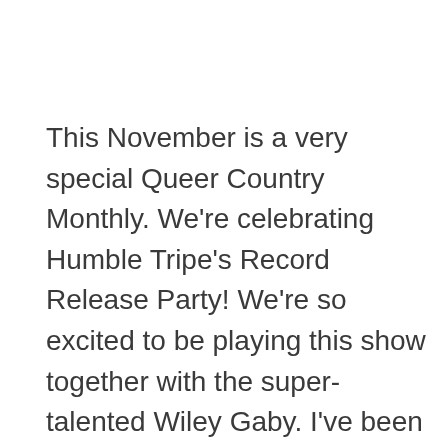This November is a very special Queer Country Monthly. We're celebrating Humble Tripe's Record Release Party! We're so excited to be playing this show together with the super-talented Wiley Gaby. I've been listening to the album and it's so, so good.
WHEN: Saturday, November 9th, 8:00 pm WHERE: Branded Saloon, 603 Vanderbilt Avenue at the corner of Bergen St, Brooklyn DOOR: $5 (but no one ever turned away for